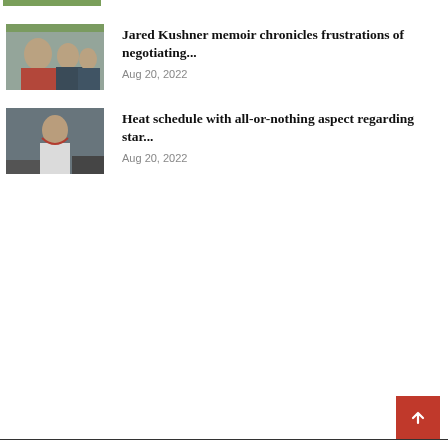[Figure (photo): Partial image at top, cropped — green strip visible]
[Figure (photo): Photo of Donald Trump with other men in suits outdoors]
Jared Kushner memoir chronicles frustrations of negotiating...
Aug 20, 2022
[Figure (photo): Photo of a man with hands on head in crowd, appearing distressed]
Heat schedule with all-or-nothing aspect regarding star...
Aug 20, 2022